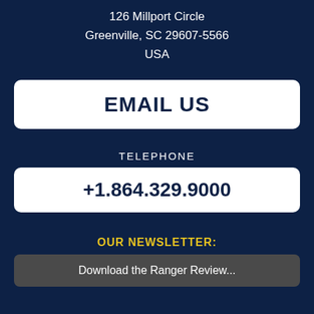126 Millport Circle
Greenville, SC 29607-5566
USA
EMAIL US
TELEPHONE
+1.864.329.9000
OUR NEWSLETTER:
Download the Ranger Review...